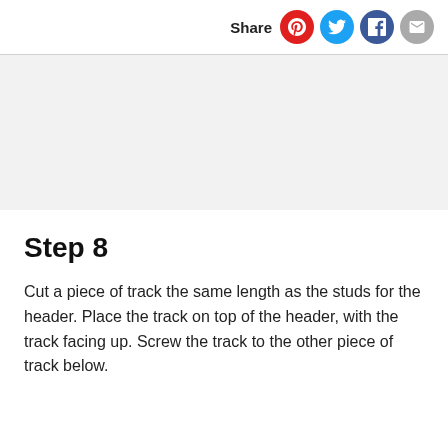Share
[Figure (other): Gray image placeholder band]
Step 8
Cut a piece of track the same length as the studs for the header. Place the track on top of the header, with the track facing up. Screw the track to the other piece of track below.